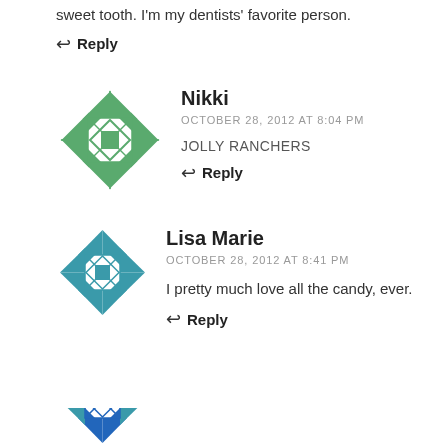sweet tooth. I'm my dentists' favorite person.
↩ Reply
Nikki
OCTOBER 28, 2012 AT 8:04 PM
JOLLY RANCHERS
↩ Reply
[Figure (illustration): Green decorative quilt-pattern avatar icon for user Nikki]
Lisa Marie
OCTOBER 28, 2012 AT 8:41 PM
I pretty much love all the candy, ever.
↩ Reply
[Figure (illustration): Teal/blue decorative quilt-pattern avatar icon for user Lisa Marie]
[Figure (illustration): Partially visible teal/blue avatar icon at bottom of page]